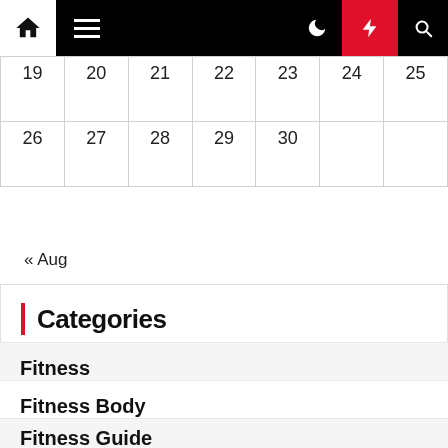Navigation bar with home, menu, moon, lightning, search icons
| 19 | 20 | 21 | 22 | 23 | 24 | 25 |
| 26 | 27 | 28 | 29 | 30 |  |  |
« Aug
Categories
Fitness
Fitness Body
Fitness Guide
Fitness Method
Fitness Training